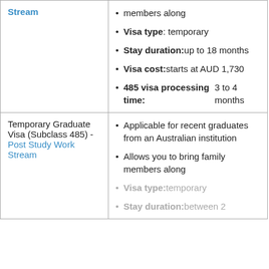| Visa Type | Details |
| --- | --- |
| Stream | members along
Visa type: temporary
Stay duration: up to 18 months
Visa cost: starts at AUD 1,730
485 visa processing time: 3 to 4 months |
| Temporary Graduate Visa (Subclass 485) - Post Study Work Stream | Applicable for recent graduates from an Australian institution
Allows you to bring family members along
Visa type: temporary
Stay duration: between 2 |